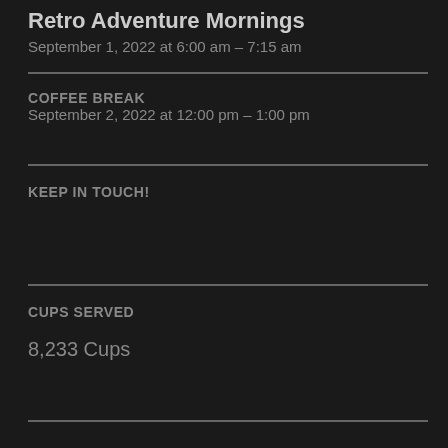Retro Adventure Mornings
September 1, 2022 at 6:00 am – 7:15 am
COFFEE BREAK
September 2, 2022 at 12:00 pm – 1:00 pm
KEEP IN TOUCH!
CUPS SERVED
8,233 Cups